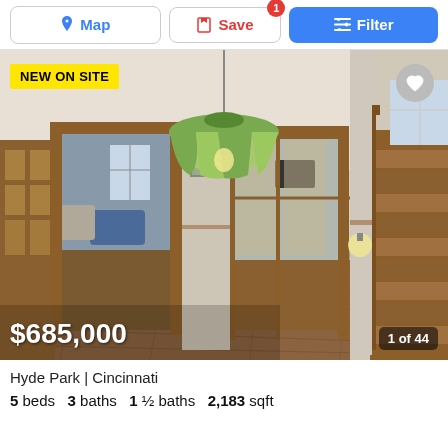Map | Save | Filter
[Figure (photo): Interior of a historic home foyer with hardwood floors, French doors with wood trim, a Tiffany-style hanging pendant lamp in green, a console table with plant, and a wooden staircase on the right. Label 'NEW ON SITE' in yellow top left. Price '$685,000' in white text bottom left. '1 of 44' counter bottom right.]
Hyde Park | Cincinnati
5 beds   3 baths   1 ½ baths   2,183 sqft